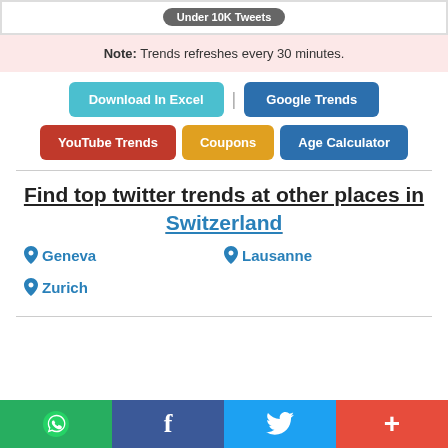Under 10K Tweets
Note: Trends refreshes every 30 minutes.
Download In Excel | Google Trends
YouTube Trends | Coupons | Age Calculator
Find top twitter trends at other places in Switzerland
Geneva
Lausanne
Zurich